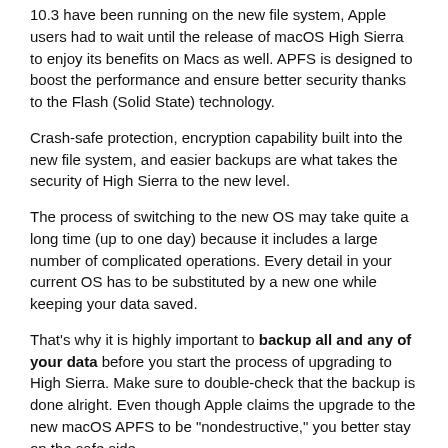10.3 have been running on the new file system, Apple users had to wait until the release of macOS High Sierra to enjoy its benefits on Macs as well. APFS is designed to boost the performance and ensure better security thanks to the Flash (Solid State) technology.
Crash-safe protection, encryption capability built into the new file system, and easier backups are what takes the security of High Sierra to the new level.
The process of switching to the new OS may take quite a long time (up to one day) because it includes a large number of complicated operations. Every detail in your current OS has to be substituted by a new one while keeping your data saved.
That's why it is highly important to backup all and any of your data before you start the process of upgrading to High Sierra. Make sure to double-check that the backup is done alright. Even though Apple claims the upgrade to the new macOS APFS to be "nondestructive," you better stay on the safe side.